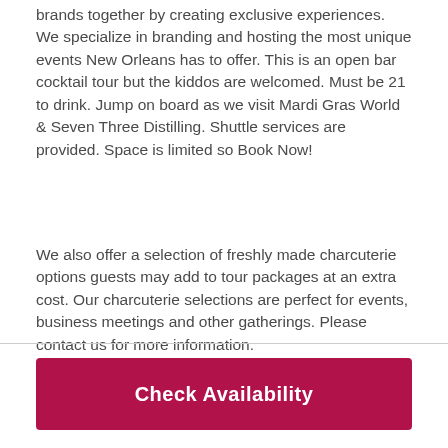brands together by creating exclusive experiences. We specialize in branding and hosting the most unique events New Orleans has to offer. This is an open bar cocktail tour but the kiddos are welcomed. Must be 21 to drink. Jump on board as we visit Mardi Gras World & Seven Three Distilling. Shuttle services are provided. Space is limited so Book Now!
We also offer a selection of freshly made charcuterie options guests may add to tour packages at an extra cost. Our charcuterie selections are perfect for events, business meetings and other gatherings. Please contact us for more information.
Check Availability